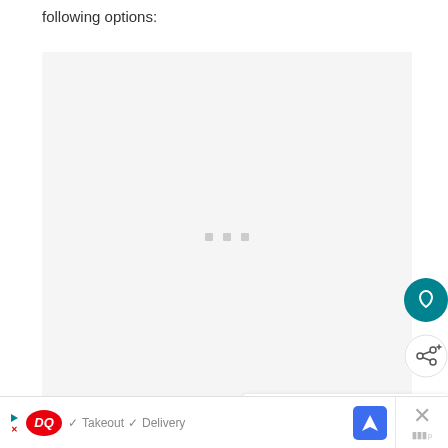following options:
[Figure (screenshot): Large light gray content placeholder box with three small gray square dots centered in the middle, indicating loading content.]
[Figure (other): Teal circular heart/favorite button on the right side.]
[Figure (other): White circular share button with share icon on the right side.]
[Figure (other): WHAT'S NEXT card with city thumbnail and text 'Not-to-be-Missed Stop...']
[Figure (other): Advertisement banner: DQ logo, checkmarks for Takeout and Delivery, navigation icon, and close button with W logo.]